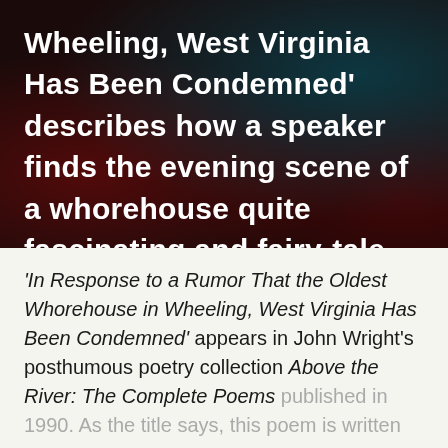Wheeling, West Virginia Has Been Condemned' describes how a speaker finds the evening scene of a whorehouse quite fascinating and fairy-tale-like.
'In Response to a Rumor That the Oldest Whorehouse in Wheeling, West Virginia Has Been Condemned' appears in John Wright's posthumous poetry collection Above the River: The Complete Poems published in 1990. As the title says, this poem is written